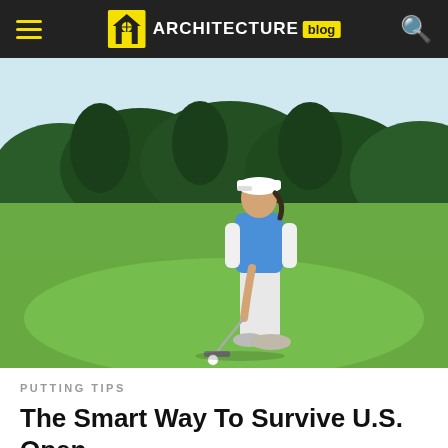ARCHITECTURE blog
[Figure (photo): Female golfer in blue sleeveless top, white pants, and white cap, putting on a green golf course with dark hedges and trees in the background.]
PUTTING TIPS
The Smart Way To Survive U.S. Open-